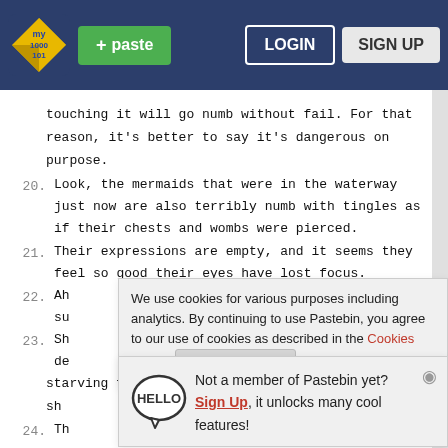Pastebin navigation bar with logo, paste button, login and sign up
touching it will go numb without fail. For that reason, it's better to say it's dangerous on purpose.
20. Look, the mermaids that were in the waterway just now are also terribly numb with tingles as if their chests and wombs were pierced.
21. Their expressions are empty, and it seems they feel so good their eyes have lost focus.
22. Ah su
23. Sh de
starving for a man for a while, so I don't think
sh
24. Th
blushing, letting out sighs filled with passion,
We use cookies for various purposes including analytics. By continuing to use Pastebin, you agree to our use of cookies as described in the Cookies Policy. OK, I Understand
Not a member of Pastebin yet? Sign Up, it unlocks many cool features!